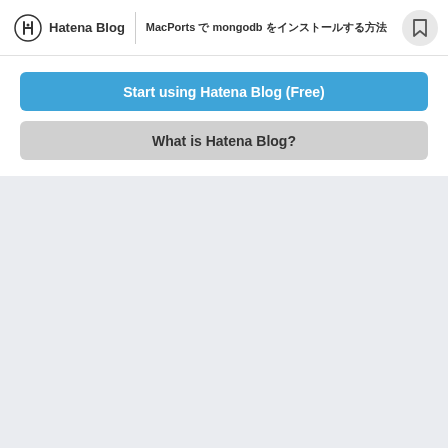Hatena Blog | MacPorts で mongodb をインストールする方法
Start using Hatena Blog (Free)
What is Hatena Blog?